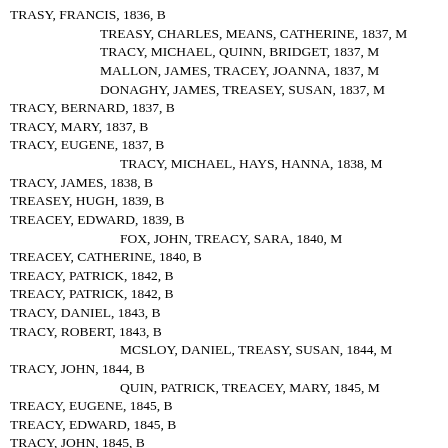TRASY, FRANCIS, 1836, B
TREASY, CHARLES, MEANS, CATHERINE, 1837, M
TRACY, MICHAEL, QUINN, BRIDGET, 1837, M
MALLON, JAMES, TRACEY, JOANNA, 1837, M
DONAGHY, JAMES, TREASEY, SUSAN, 1837, M
TRACY, BERNARD, 1837, B
TRACY, MARY, 1837, B
TRACY, EUGENE, 1837, B
TRACY, MICHAEL, HAYS, HANNA, 1838, M
TRACY, JAMES, 1838, B
TREASEY, HUGH, 1839, B
TREACEY, EDWARD, 1839, B
FOX, JOHN, TREACY, SARA, 1840, M
TREACEY, CATHERINE, 1840, B
TREACY, PATRICK, 1842, B
TREACY, PATRICK, 1842, B
TRACY, DANIEL, 1843, B
TRACY, ROBERT, 1843, B
MCSLOY, DANIEL, TREASY, SUSAN, 1844, M
TRACY, JOHN, 1844, B
QUIN, PATRICK, TREACEY, MARY, 1845, M
TREACY, EUGENE, 1845, B
TREACY, EDWARD, 1845, B
TRACY, JOHN, 1845, B
TRACY, MARGARET, 1845, B